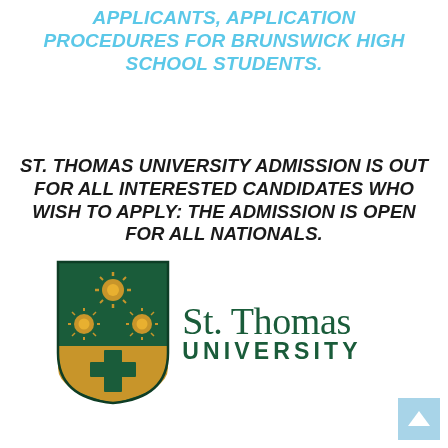APPLICANTS, APPLICATION PROCEDURES FOR BRUNSWICK HIGH SCHOOL STUDENTS.
ST. THOMAS UNIVERSITY ADMISSION IS OUT FOR ALL INTERESTED CANDIDATES WHO WISH TO APPLY: THE ADMISSION IS OPEN FOR ALL NATIONALS.
[Figure (logo): St. Thomas University logo with green and gold shield crest and university name in dark green serif font]